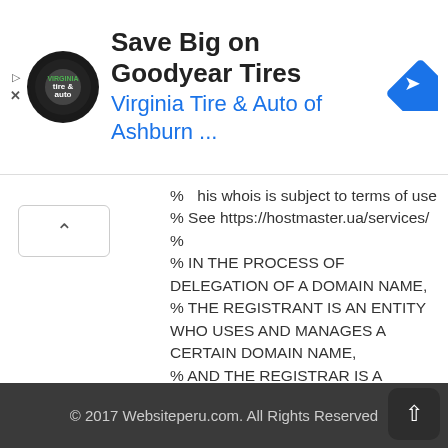[Figure (screenshot): Advertisement banner: Virginia Tire & Auto of Ashburn logo and navigation icon with text 'Save Big on Goodyear Tires' and 'Virginia Tire & Auto of Ashburn ...']
% This whois is subject to terms of use
% See https://hostmaster.ua/services/
%
% IN THE PROCESS OF DELEGATION OF A DOMAIN NAME,
% THE REGISTRANT IS AN ENTITY WHO USES AND MANAGES A CERTAIN DOMAIN NAME,
% AND THE REGISTRAR IS A BUSINESS ENTITY THAT PROVIDES THE REGISTRANT
% WITH THE SERVICES NECESSARY FOR THE TECHNICAL MAINTENANCE OF THE REGISTRATION AND OPERATION OF THE DOMAIN NAME.
© 2017 Websiteperu.com. All Rights Reserved